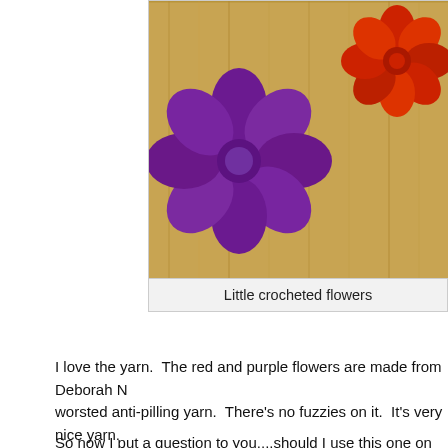[Figure (photo): Crocheted flowers on a wooden surface — a large purple flower on the left and a smaller red/orange flower on the right.]
Little crocheted flowers
I love the yarn.  The red and purple flowers are made from Deborah N worsted anti-pilling yarn.  There's no fuzzies on it.  It's very nice yarn.
So now I put a question to you....should I use this one on my wrist wa
[Figure (photo): A blue knitted or crocheted wristwarmer/cuff with two buttons (one red, one dark) on a striped background.]